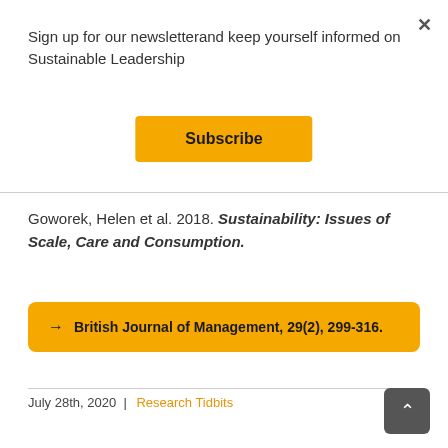×
Sign up for our newsletterand keep yourself informed on Sustainable Leadership
Subscribe
Goworek, Helen et al. 2018. Sustainability: Issues of Scale, Care and Consumption.
→ British Journal of Management, 29(2), 299-316.
July 28th, 2020  |  Research Tidbits